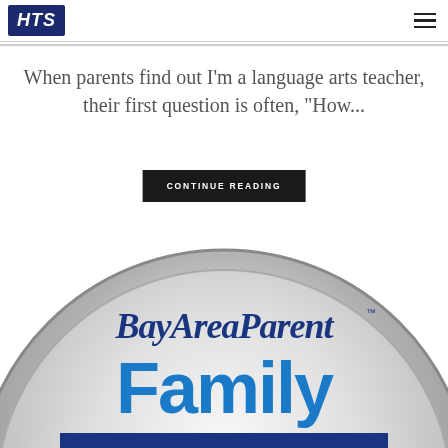HTS
When parents find out I'm a language arts teacher, their first question is often, “How...
CONTINUE READING
[Figure (logo): BayAreaParent Family logo badge — circular silver metallic badge with 'BayAreaParent' in dark blue italic serif font and 'Family' in large bright blue bold font below, partially cropped at bottom]